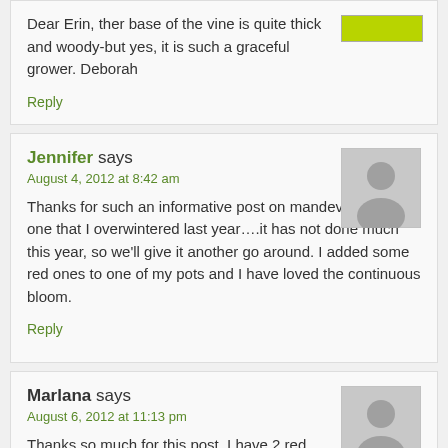Dear Erin, ther base of the vine is quite thick and woody-but yes, it is such a graceful grower. Deborah
Reply
Jennifer says
August 4, 2012 at 8:42 am
Thanks for such an informative post on mandevillas. I have one that I overwintered last year….it has not done much this year, so we'll give it another go around. I added some red ones to one of my pots and I have loved the continuous bloom.
Reply
Marlana says
August 6, 2012 at 11:13 pm
Thanks so much for this post. I have 2 red